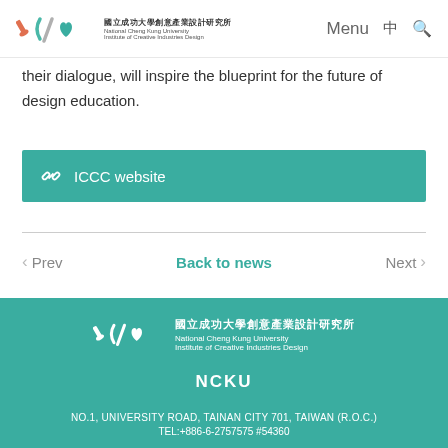國立成功大學創意產業設計研究所 National Cheng Kung University Institute of Creative Industries Design | Menu 中 🔍
their dialogue, will inspire the blueprint for the future of design education.
🔗 ICCC website
< Prev    Back to news    Next >
國立成功大學創意產業設計研究所 National Cheng Kung University Institute of Creative Industries Design
NCKU
NO.1, UNIVERSITY ROAD, TAINAN CITY 701, TAIWAN (R.O.C.)
TEL:+886-6-2757575 #54360